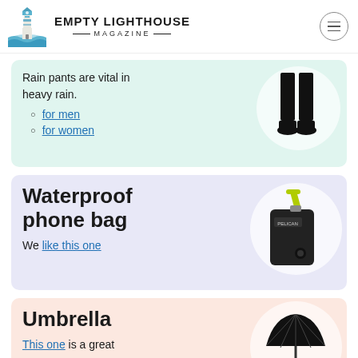EMPTY LIGHTHOUSE MAGAZINE
Rain pants are vital in heavy rain.
for men
for women
Waterproof phone bag
We like this one
Umbrella
This one is a great